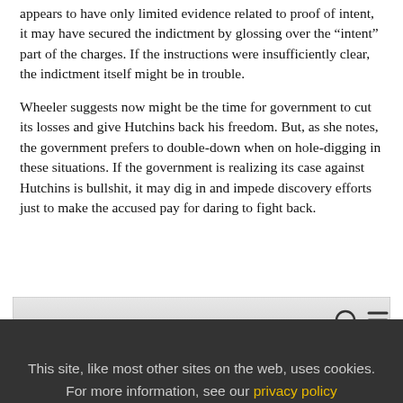appears to have only limited evidence related to proof of intent, it may have secured the indictment by glossing over the “intent” part of the charges. If the instructions were insufficiently clear, the indictment itself might be in trouble.
Wheeler suggests now might be the time for government to cut its losses and give Hutchins back his freedom. But, as she notes, the government prefers to double-down when on hole-digging in these situations. If the government is realizing its case against Hutchins is bullshit, it may dig in and impede discovery efforts just to make the accused pay for daring to fight back.
[Figure (screenshot): Browser UI screenshot showing a navigation bar with search icon and hamburger menu, and a white content area below]
This site, like most other sites on the web, uses cookies. For more information, see our privacy policy
GOT IT